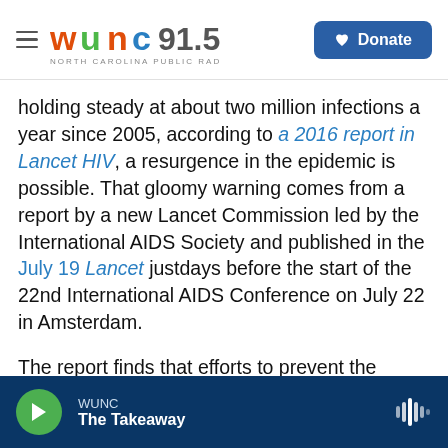WUNC 91.5 North Carolina Public Radio | Donate
holding steady at about two million infections a year since 2005, according to a 2016 report in Lancet HIV, a resurgence in the epidemic is possible. That gloomy warning comes from a report by a new Lancet Commission led by the International AIDS Society and published in the July 19 Lancet justdays before the start of the 22nd International AIDS Conference on July 22 in Amsterdam.
The report finds that efforts to prevent the spread of HIV have stalled, in part, because international funding for AIDS has begun to decline. What's
WUNC | The Takeaway